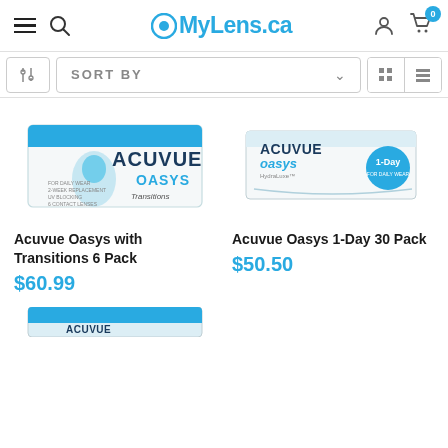MyLens.ca
SORT BY
[Figure (photo): Acuvue Oasys with Transitions 6 Pack product box]
Acuvue Oasys with Transitions 6 Pack
$60.99
[Figure (photo): Acuvue Oasys 1-Day 30 Pack product box]
Acuvue Oasys 1-Day 30 Pack
$50.50
[Figure (photo): Partial view of a third Acuvue product box at bottom of page]